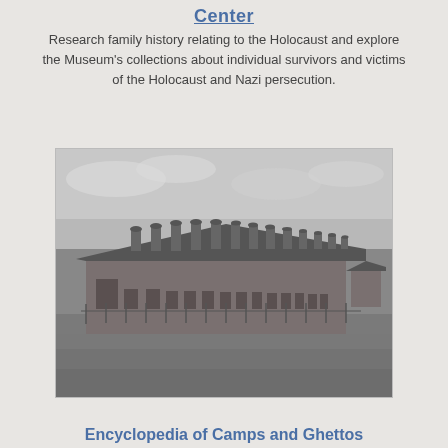Center
Research family history relating to the Holocaust and explore the Museum's collections about individual survivors and victims of the Holocaust and Nazi persecution.
[Figure (photo): Black and white photograph of a long brick barrack-style building with multiple chimneys along the roofline, set in an open grassy field. This appears to be a concentration camp building.]
Encyclopedia of Camps and Ghettos